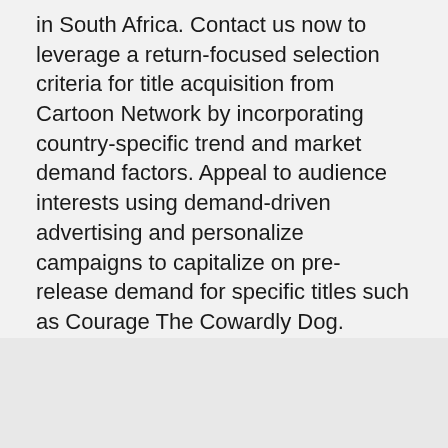in South Africa. Contact us now to leverage a return-focused selection criteria for title acquisition from Cartoon Network by incorporating country-specific trend and market demand factors. Appeal to audience interests using demand-driven advertising and personalize campaigns to capitalize on pre-release demand for specific titles such as Courage The Cowardly Dog. Access audience taste clusters weeks ahead of a premiere, resulting in high impact campaigns for titles that have not even been released.
CONTACT US